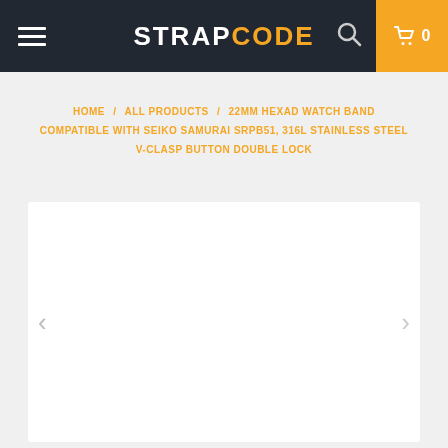STRAPCODE — navigation header with hamburger menu, logo, search icon, and cart (0 items)
HOME / ALL PRODUCTS / 22MM HEXAD WATCH BAND COMPATIBLE WITH SEIKO SAMURAI SRPB51, 316L STAINLESS STEEL V-CLASP BUTTON DOUBLE LOCK
[Figure (photo): White product image area — a large white rectangle serving as a product photo placeholder for the watch band product, with left and right navigation arrows on each side]